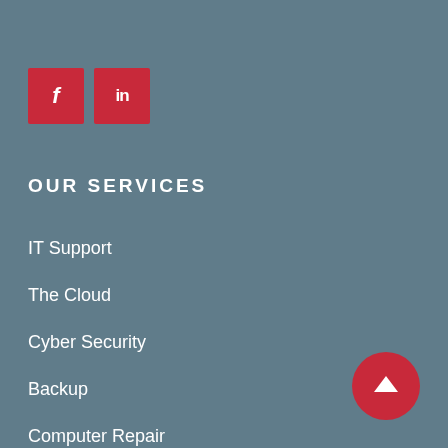[Figure (logo): Facebook icon (f) and LinkedIn icon (in) as red square social media buttons]
OUR SERVICES
IT Support
The Cloud
Cyber Security
Backup
Computer Repair
Structured Cabling
[Figure (illustration): Red circle button with white upward arrow for scroll-to-top]